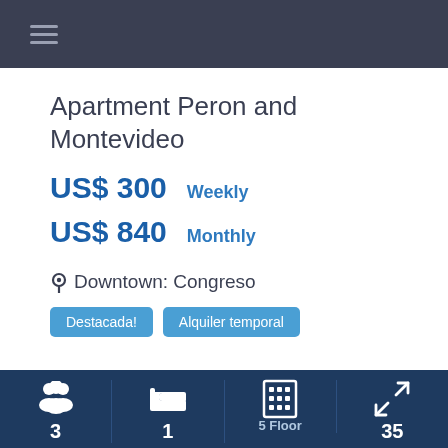≡
Apartment Peron and Montevideo
US$ 300   Weekly
US$ 840   Monthly
📍 Downtown: Congreso
Destacada!
Alquiler temporal
3   1   5 Floor   35